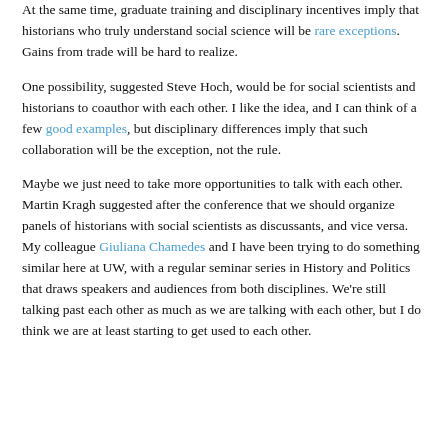At the same time, graduate training and disciplinary incentives imply that historians who truly understand social science will be rare exceptions. Gains from trade will be hard to realize.
One possibility, suggested Steve Hoch, would be for social scientists and historians to coauthor with each other. I like the idea, and I can think of a few good examples, but disciplinary differences imply that such collaboration will be the exception, not the rule.
Maybe we just need to take more opportunities to talk with each other. Martin Kragh suggested after the conference that we should organize panels of historians with social scientists as discussants, and vice versa. My colleague Giuliana Chamedes and I have been trying to do something similar here at UW, with a regular seminar series in History and Politics that draws speakers and audiences from both disciplines. We're still talking past each other as much as we are talking with each other, but I do think we are at least starting to get used to each other.